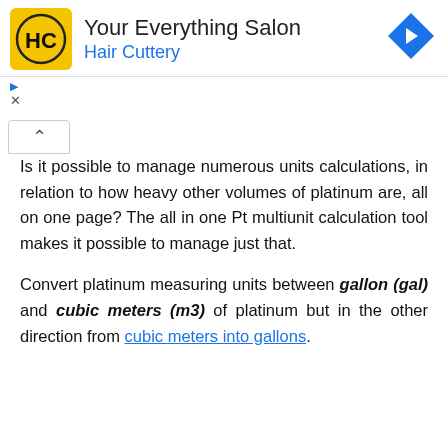[Figure (other): Hair Cuttery advertisement banner with logo, title 'Your Everything Salon', subtitle 'Hair Cuttery', and a blue navigation arrow icon]
Is it possible to manage numerous units calculations, in relation to how heavy other volumes of platinum are, all on one page? The all in one Pt multiunit calculation tool makes it possible to manage just that.
Convert platinum measuring units between gallon (gal) and cubic meters (m3) of platinum but in the other direction from cubic meters into gallons.